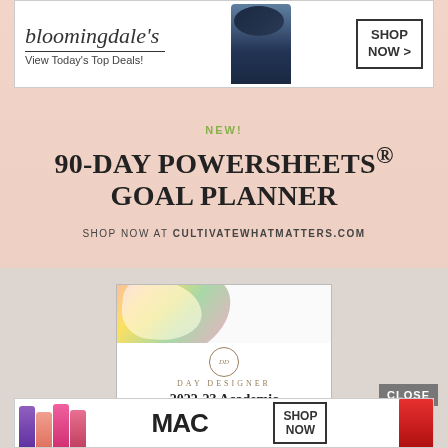[Figure (screenshot): Bloomingdale's banner advertisement with brand name, 'View Today's Top Deals!' tagline, fashion model, and SHOP NOW button]
[Figure (screenshot): Salmon/peach colored advertisement for 90-Day PowerSheets Goal Planner by Cultivate What Matters]
NEW!
90-DAY POWERSHEETS® GOAL PLANNER
SHOP NOW AT CULTIVATEWHATMATTERS.COM
[Figure (screenshot): Day Designer advertisement showing floral planner cover, brand logo, and 2022-23 Academic Year Planners with tagline 'Life well designed']
DAY DESIGNER
2022-23 Academic Year Planners
Life well designed
CLOSE
[Figure (screenshot): MAC Cosmetics banner advertisement with colorful lipsticks, MAC logo, and SHOP NOW button]